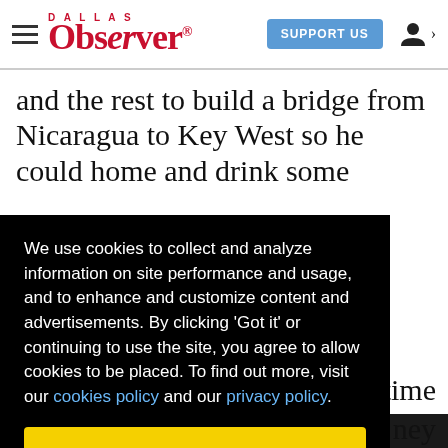Dallas Observer — SUPPORT US — [user icon]
and the rest to build a bridge from Nicaragua to Key West so he could home and drink some
ler
time
ney
We use cookies to collect and analyze information on site performance and usage, and to enhance and customize content and advertisements. By clicking 'Got it' or continuing to use the site, you agree to allow cookies to be placed. To find out more, visit our cookies policy and our privacy policy.
Got it!